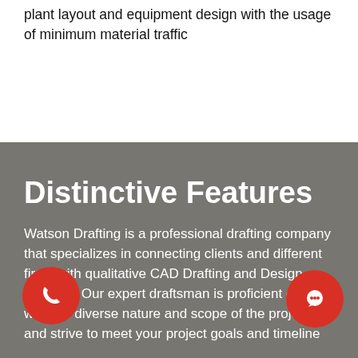plant layout and equipment design with the usage of minimum material traffic
Distinctive Features
Watson Drafting is a professional drafting company that specializes in connecting clients and different firms with qualitative CAD Drafting and Design services. Our expert draftsman is proficient enough with the diverse nature and scope of the project and strive to meet your project goals and timeline